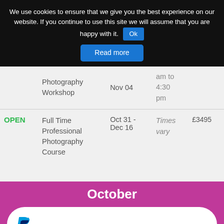We use cookies to ensure that we give you the best experience on our website. If you continue to use this site we will assume that you are happy with it. Ok
Read more
| Status | Workshops | Date | Time | Fee |
| --- | --- | --- | --- | --- |
|  | Photography Workshop | Nov 04 | am to 4:30 pm |  |
| OPEN | Full Time Professional Photography Course | Oct 31 - Dec 16 | Times vary | £3495 |
October
[Figure (logo): PayPal logo in blue]
Status   Workshops   Date   Time   Fee